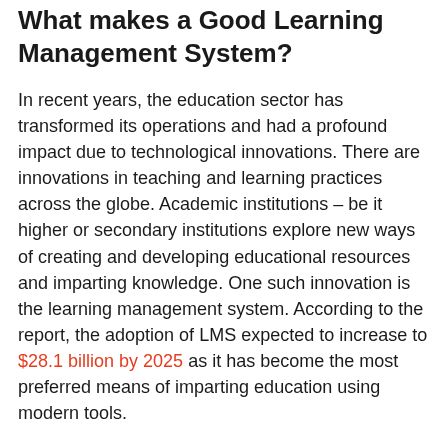What makes a Good Learning Management System?
In recent years, the education sector has transformed its operations and had a profound impact due to technological innovations. There are innovations in teaching and learning practices across the globe. Academic institutions – be it higher or secondary institutions explore new ways of creating and developing educational resources and imparting knowledge. One such innovation is the learning management system. According to the report, the adoption of LMS expected to increase to $28.1 billion by 2025 as it has become the most preferred means of imparting education using modern tools.
You might be an instructor in a school, college, or educational institution that designs various course